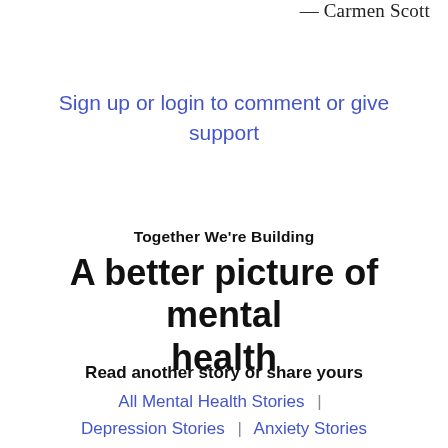— Carmen Scott
Sign up or login to comment or give support
Together We're Building
A better picture of mental health
Read another story or share yours
All Mental Health Stories  |  Depression Stories  |  Anxiety Stories